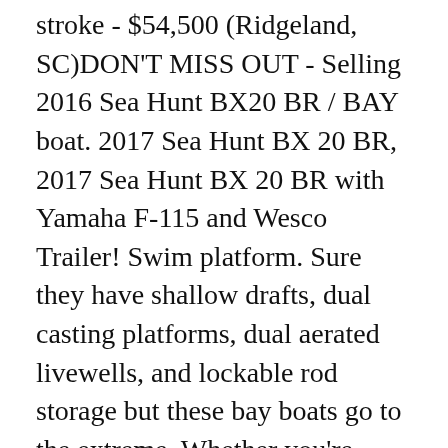stroke - $54,500 (Ridgeland, SC)DON'T MISS OUT - Selling 2016 Sea Hunt BX20 BR / BAY boat. 2017 Sea Hunt BX 20 BR, 2017 Sea Hunt BX 20 BR with Yamaha F-115 and Wesco Trailer! Swim platform. Sure they have shallow drafts, dual casting platforms, dual aerated livewells, and lockable rod storage but these bay boats go to the extreme. Whether you're running the flats hunting Redfish, or cruising the intercoastal waterways; the BX series gives you the freedom to head out on the water for adventure. Availability: In Stock: Usage: New Style: Bay Boat Length Overall: 25 ft. 0 in. Motor has been serviced professionally at all the manufacturès recommended intervals.Brand new cushionsare on order and